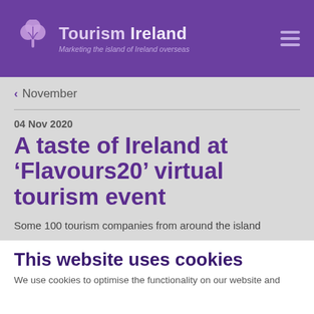[Figure (logo): Tourism Ireland logo with shamrock icon, text 'Tourism Ireland' and tagline 'Marketing the island of Ireland overseas' on purple header background]
Tourism Ireland — Marketing the island of Ireland overseas
< November
04 Nov 2020
A taste of Ireland at ‘Flavours20’ virtual tourism event
Some 100 tourism companies from around the island of Ireland...
This website uses cookies
We use cookies to optimise the functionality on our website and...